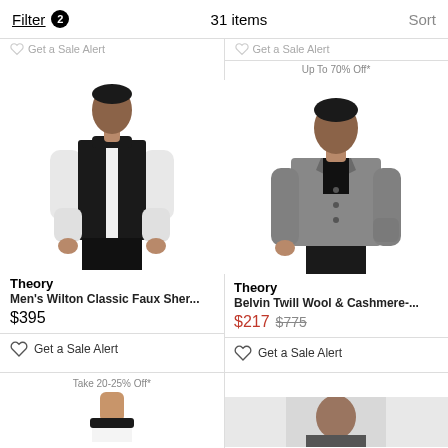Filter 2   31 items   Sort
Get a Sale Alert   Get a Sale Alert
[Figure (photo): Man wearing black faux sherpa vest over white long-sleeve shirt with black pants]
Theory
Men's Wilton Classic Faux Sher...
$395
Get a Sale Alert
Up To 70% Off*
[Figure (photo): Man wearing gray twill wool and cashmere overcoat over black shirt with dark pants]
Theory
Belvin Twill Wool & Cashmere-...
$217 $775
Get a Sale Alert
Take 20-25% Off*
[Figure (photo): Partial cropped photo of man's neck/chin at bottom of page]
[Figure (photo): Partial cropped photo of man at bottom right of page]